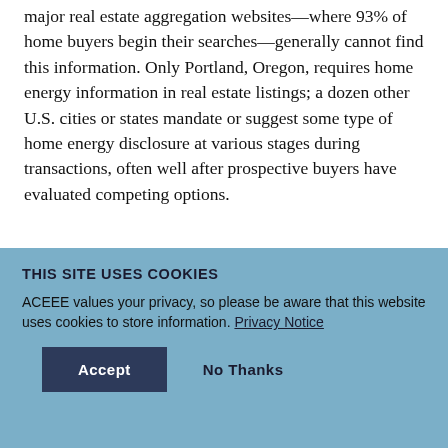major real estate aggregation websites—where 93% of home buyers begin their searches—generally cannot find this information. Only Portland, Oregon, requires home energy information in real estate listings; a dozen other U.S. cities or states mandate or suggest some type of home energy disclosure at various stages during transactions, often well after prospective buyers have evaluated competing options.
THIS SITE USES COOKIES
ACEEE values your privacy, so please be aware that this website uses cookies to store information. Privacy Notice